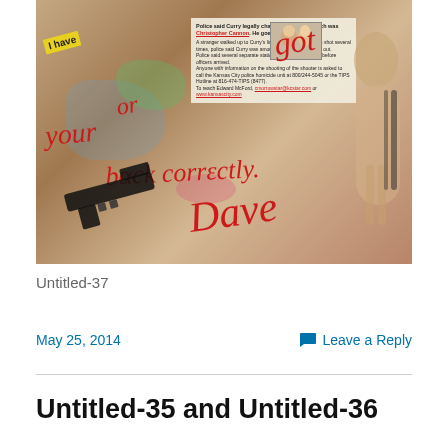[Figure (illustration): Mixed media artwork featuring a painted/collaged background with graffiti-style red script text reading 'I have got your back correctly. Dave', a yellow sticky note, a newspaper clipping with photo, a gun shape, and a figure silhouette on a textured copper/brown background.]
Untitled-37
May 25, 2014
Leave a Reply
Untitled-35 and Untitled-36